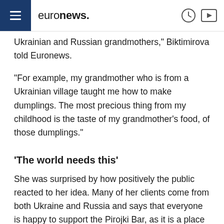euronews.
Ukrainian and Russian grandmothers," Biktimirova told Euronews.
"For example, my grandmother who is from a Ukrainian village taught me how to make dumplings. The most precious thing from my childhood is the taste of my grandmother's food, of those dumplings."
'The world needs this'
She was surprised by how positively the public reacted to her idea. Many of her clients come from both Ukraine and Russia and says that everyone is happy to support the Pirojki Bar, as it is a place of unity, peace, love and taste, which they have known since childhood.
The bar was decorated by contemporary artists from